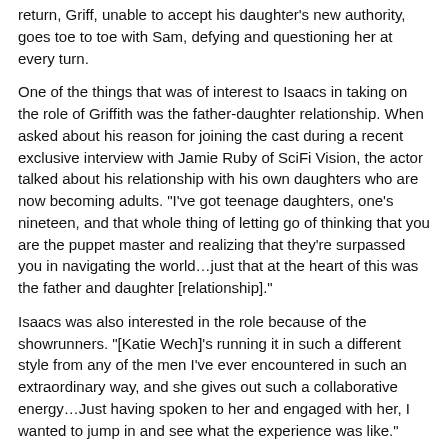return, Griff, unable to accept his daughter's new authority, goes toe to toe with Sam, defying and questioning her at every turn.
One of the things that was of interest to Isaacs in taking on the role of Griffith was the father-daughter relationship. When asked about his reason for joining the cast during a recent exclusive interview with Jamie Ruby of SciFi Vision, the actor talked about his relationship with his own daughters who are now becoming adults. "I've got teenage daughters, one's nineteen, and that whole thing of letting go of thinking that you are the puppet master and realizing that they're surpassed you in navigating the world…just that at the heart of this was the father and daughter [relationship]."
Isaacs was also interested in the role because of the showrunners. "[Katie Wech]'s running it in such a different style from any of the men I've ever encountered in such an extraordinary way, and she gives out such a collaborative energy…Just having spoken to her and engaged with her, I wanted to jump in and see what the experience was like."
Read more ...
Category: Interviews
James Cameron Discusses New Art Book, Inspiration, Spider-Man, & More
Created: Saturday, 18 December 2021 20:26 | Written by Jamie Ruby
[Figure (photo): Thumbnail photo at bottom of page]